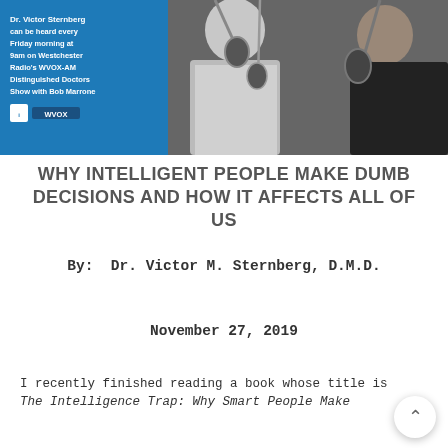[Figure (photo): Photo banner showing two men in a radio studio with microphones. Left side has blue background with text overlay: 'Dr. Victor Sternberg can be heard every Friday morning at 9am on Westchester Radio's WVOX-AM Distinguished Doctors Show with Bob Marrone.' WVOX logo shown at bottom left.]
WHY INTELLIGENT PEOPLE MAKE DUMB DECISIONS AND HOW IT AFFECTS ALL OF US
By:  Dr. Victor M. Sternberg, D.M.D.
November 27, 2019
I recently finished reading a book whose title is The Intelligence Trap: Why Smart People Make